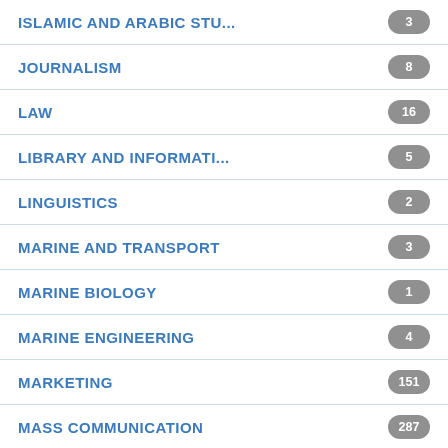ISLAMIC AND ARABIC STU...
JOURNALISM
LAW
LIBRARY AND INFORMATI...
LINGUISTICS
MARINE AND TRANSPORT
MARINE BIOLOGY
MARINE ENGINEERING
MARKETING
MASS COMMUNICATION
MATHEMATICAL ECONOMICS